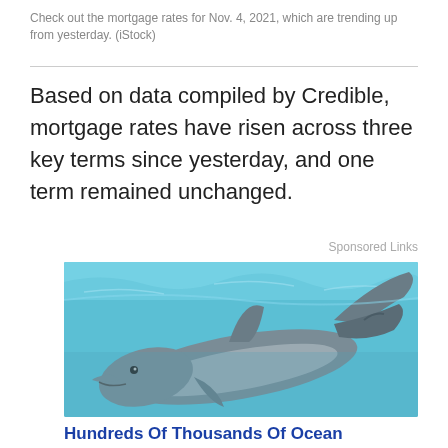Check out the mortgage rates for Nov. 4, 2021, which are trending up from yesterday. (iStock)
Based on data compiled by Credible, mortgage rates have risen across three key terms since yesterday, and one term remained unchanged.
Sponsored Links
[Figure (photo): A dolphin swimming in blue water, viewed from above/side angle showing its head and tail fin.]
Hundreds Of Thousands Of Ocean